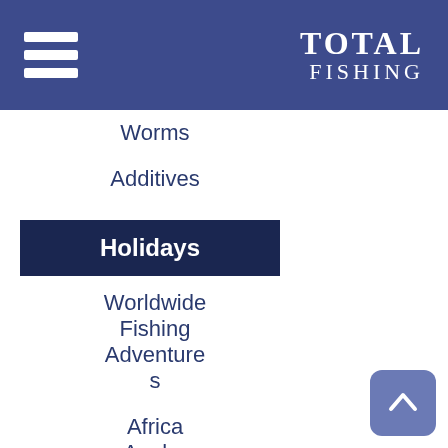TOTAL FISHING
Worms
Additives
Holidays
Worldwide Fishing Adventures
Africa Angler
Amazon Catfish Tours